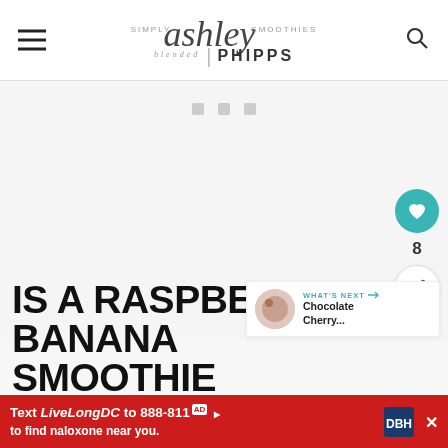ashley | PHIPPS — Simply Blended Smoothies
[Figure (screenshot): Large blank white ad placeholder area with three small grey squares centered near top]
8
WHAT'S NEXT → Chocolate Cherry...
IS A RASPBERRY BANANA SMOOTHIE
Text LiveLongDC to 888-811 to find naloxone near you.